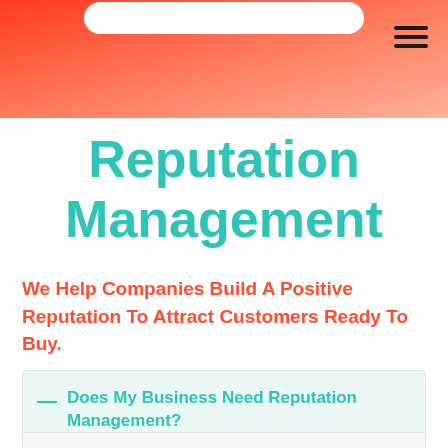[Figure (other): Red-to-salmon gradient header banner with a white search bar pill at top and hamburger menu icon at top right]
Reputation Management
We Help Companies Build A Positive Reputation To Attract Customers Ready To Buy.
— Does My Business Need Reputation Management?